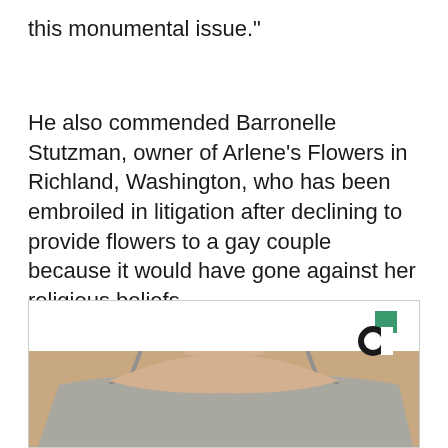this monumental issue."
He also commended Barronelle Stutzman, owner of Arlene's Flowers in Richland, Washington, who has been embroiled in litigation after declining to provide flowers to a gay couple because it would have gone against her religious beliefs.
[Figure (photo): Photo of a person wearing a grey spaghetti strap top, showing neck and upper chest area, with a small circular logo (Christian Monitor logo) in the upper right corner of the image frame.]